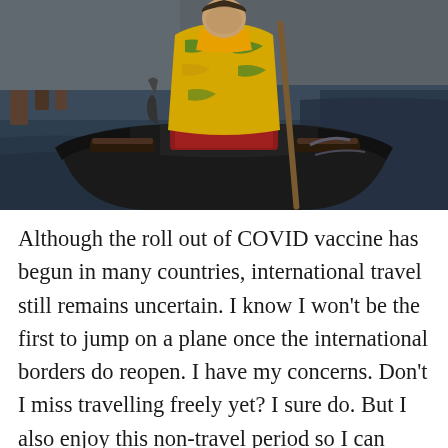[Figure (photo): A person in a colorful yellow and green patterned outfit standing in a gondola on a Venetian canal. The gondola is black with ornate details, the canal water is visible in the background.]
Although the roll out of COVID vaccine has begun in many countries, international travel still remains uncertain. I know I won't be the first to jump on a plane once the international borders do reopen. I have my concerns. Don't I miss travelling freely yet? I sure do. But I also enjoy this non-travel period so I can slowly and